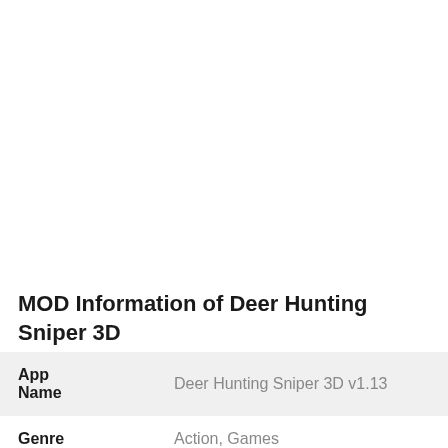MOD Information of Deer Hunting Sniper 3D
| Field | Value |
| --- | --- |
| App Name | Deer Hunting Sniper 3D v1.13 |
| Genre | Action, Games |
| Size | 50M |